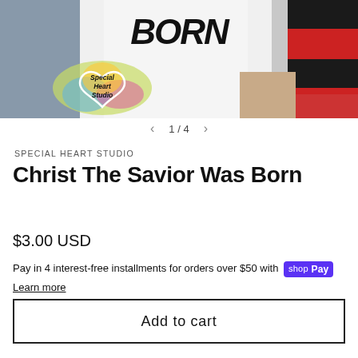[Figure (photo): Product photo of a white t-shirt with 'BORN' text, worn/displayed with denim and plaid fabric in background. Special Heart Studio watermark logo visible in lower left of image.]
1 / 4
SPECIAL HEART STUDIO
Christ The Savior Was Born
$3.00 USD
Pay in 4 interest-free installments for orders over $50 with Shop Pay
Learn more
Add to cart